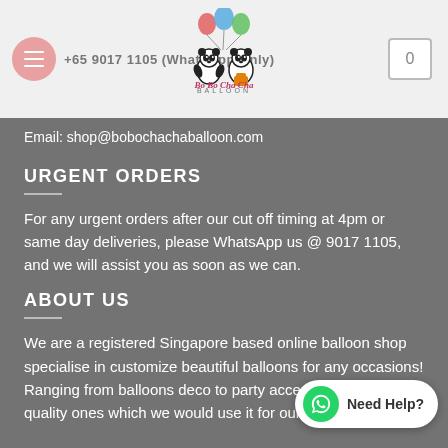BoBo ChaCha Balloon — +65 9017 1105 (WhatsApp Only)
Email: shop@bobochachaballoon.com
URGENT ORDERS
For any urgent orders after our cut off timing at 4pm or same day deliveries, please WhatsApp us @ 9017 1105, and we will assist you as soon as we can.
ABOUT US
We are a registered Singapore based online balloon shop specialise in customize beautiful balloons for any occasions! Ranging from balloons deco to party accessories, we carry quality ones which we would use it for our own party!